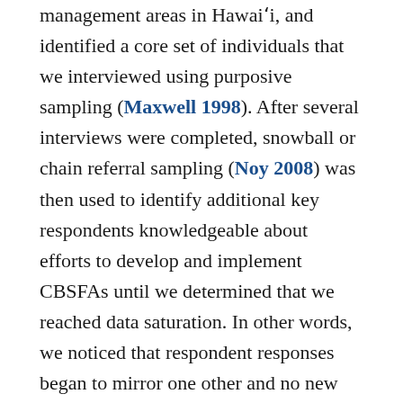management areas in Hawai'i, and identified a core set of individuals that we interviewed using purposive sampling (Maxwell 1998). After several interviews were completed, snowball or chain referral sampling (Noy 2008) was then used to identify additional key respondents knowledgeable about efforts to develop and implement CBSFAs until we determined that we reached data saturation. In other words, we noticed that respondent responses began to mirror one other and no new themes were being discovered (Bernard 2013). Interviews were semi-structured; respondents answered the same questions but the interviewer remained open to new conversation threads (Patton 2002). Interview questions are provided in the Appendix. A breakdown of the interviewees and their